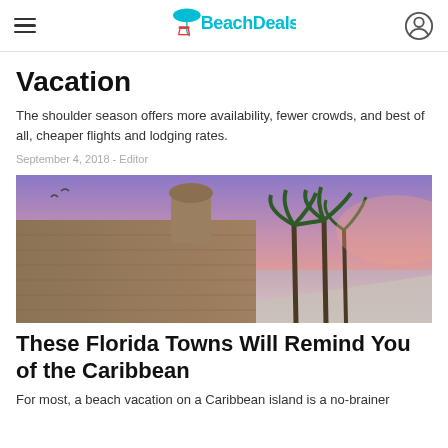BeachDeals
Vacation
The shoulder season offers more availability, fewer crowds, and best of all, cheaper flights and lodging rates.
September 4, 2018 - Editor
[Figure (photo): Scenic coastal photo at sunset showing a historic stone fortress wall with a turret, palm trees, and a pink-purple sky reflecting over calm water.]
These Florida Towns Will Remind You of the Caribbean
For most, a beach vacation on a Caribbean island is a no-brainer